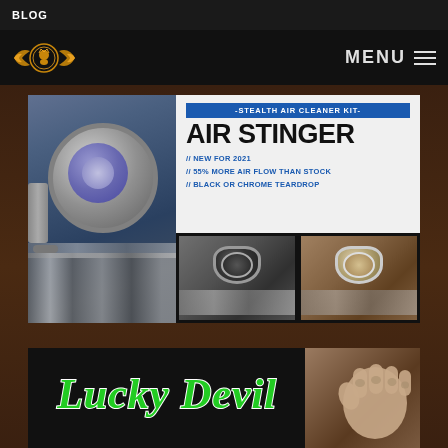BLOG
[Figure (logo): Motorcycle brand logo with wings, gold/orange on black background]
MENU ☰
[Figure (infographic): Stealth Air Cleaner Kit - Air Stinger advertisement. New for 2021 // 55% More Air Flow Than Stock // Black or Chrome Teardrop. Shows motorcycle air cleaner photos in black and chrome teardrop styles.]
[Figure (photo): Lucky Devil brand logo/banner with green lettered script text on black background, and fist photo on right side]